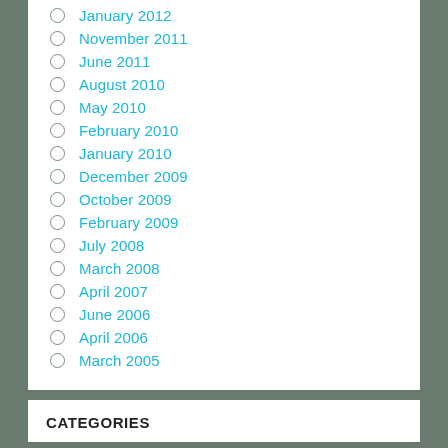January 2012
November 2011
June 2011
August 2010
May 2010
February 2010
January 2010
December 2009
October 2009
February 2009
July 2008
March 2008
April 2007
June 2006
April 2006
March 2005
CATEGORIES